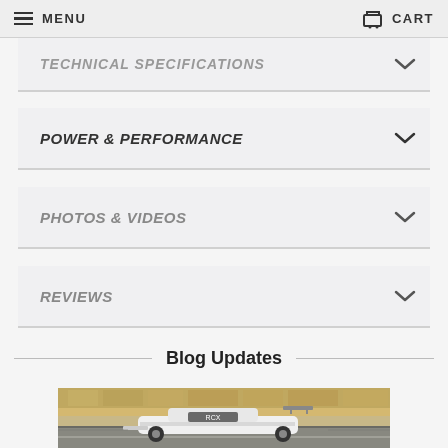MENU   CART
TECHNICAL SPECIFICATIONS
POWER & PERFORMANCE
PHOTOS & VIDEOS
REVIEWS
Blog Updates
[Figure (photo): A white racing car on a racetrack, viewed from the side, with grandstands visible in the background. The car appears to be a sports/GT race car.]